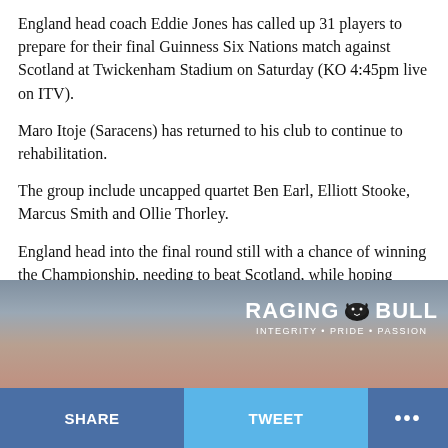England head coach Eddie Jones has called up 31 players to prepare for their final Guinness Six Nations match against Scotland at Twickenham Stadium on Saturday (KO 4:45pm live on ITV).
Maro Itoje (Saracens) has returned to his club to continue to rehabilitation.
The group include uncapped quartet Ben Earl, Elliott Stooke, Marcus Smith and Ollie Thorley.
England head into the final round still with a chance of winning the Championship, needing to beat Scotland, while hoping Wales lose to Ireland.
[Figure (photo): Raging Bull advertisement banner showing stadium seating in the background with the Raging Bull logo and tagline INTEGRITY • PRIDE • PASSION]
SHARE   TWEET   ...